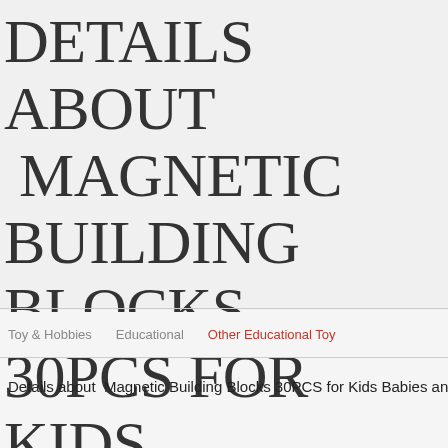DETAILS ABOUT MAGNETIC BUILDING BLOCKS 30PCS FOR KIDS BABIES AND TODDLERS SMALL STEM EDUCATION
Toy & Hobbies   Educational   Other Educational Toy
Details about  Magnetic Building Blocks 30PCS for Kids Babies and